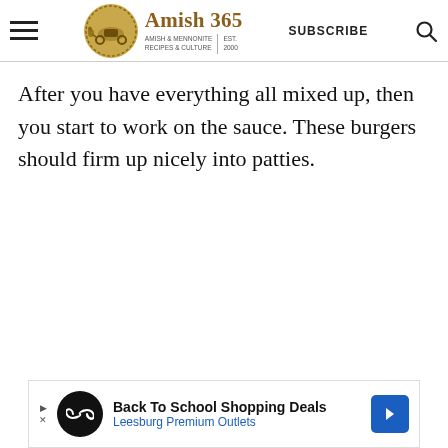Amish 365 — AMISH & MENNONITE RECIPES & CULTURE | EST. 2000 | SUBSCRIBE
After you have everything all mixed up, then you start to work on the sauce. These burgers should firm up nicely into patties.
[Figure (other): Advertisement banner: Back To School Shopping Deals — Leesburg Premium Outlets]